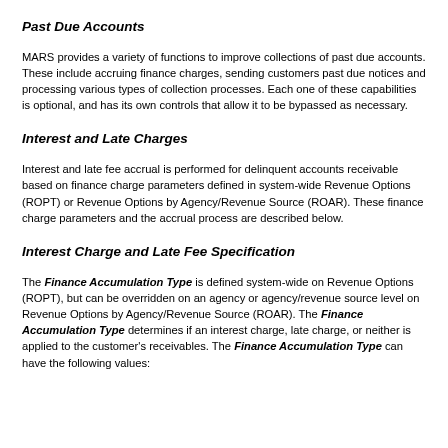Past Due Accounts
MARS provides a variety of functions to improve collections of past due accounts. These include accruing finance charges, sending customers past due notices and processing various types of collection processes. Each one of these capabilities is optional, and has its own controls that allow it to be bypassed as necessary.
Interest and Late Charges
Interest and late fee accrual is performed for delinquent accounts receivable based on finance charge parameters defined in system-wide Revenue Options (ROPT) or Revenue Options by Agency/Revenue Source (ROAR). These finance charge parameters and the accrual process are described below.
Interest Charge and Late Fee Specification
The Finance Accumulation Type is defined system-wide on Revenue Options (ROPT), but can be overridden on an agency or agency/revenue source level on Revenue Options by Agency/Revenue Source (ROAR). The Finance Accumulation Type determines if an interest charge, late charge, or neither is applied to the customer's receivables. The Finance Accumulation Type can have the following values: